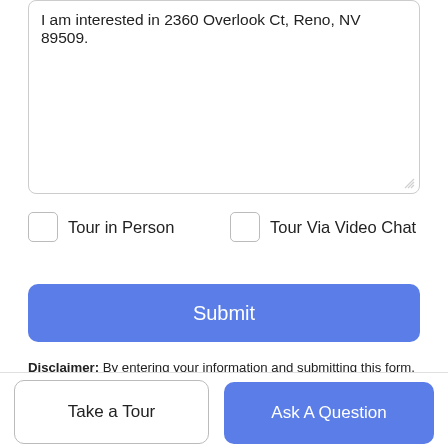I am interested in 2360 Overlook Ct, Reno, NV 89509.
Tour in Person
Tour Via Video Chat
Submit
Disclaimer: By entering your information and submitting this form, you agree to our Terms of Use and Privacy Policy and that you may be contacted by phone, text message and email about your inquiry.
[Figure (logo): Broker Reciprocity logo with house icon and text 'Broker Reciprocity']
Take a Tour
Ask A Question